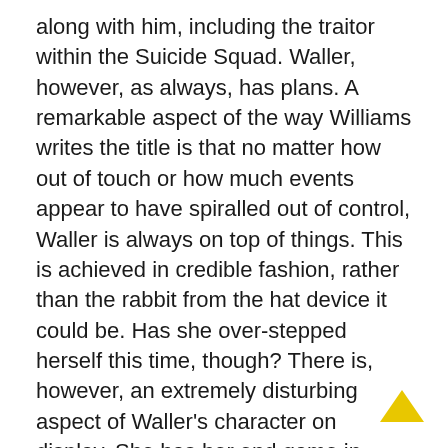along with him, including the traitor within the Suicide Squad. Waller, however, as always, has plans. A remarkable aspect of the way Williams writes the title is that no matter how out of touch or how much events appear to have spiralled out of control, Waller is always on top of things. This is achieved in credible fashion, rather than the rabbit from the hat device it could be. Has she over-stepped herself this time, though? There is, however, an extremely disturbing aspect of Waller's character on display. She has her end game in mind, and as shown here, little conscience about the fates of her civilian employees, even boasting at one point how she in effect, sentenced them to death. Is it clumsy writing or definitive establishing of her personality? Either way, it's extremely unpleasant.
Earthlings on Fire is one hell of a ride. After that